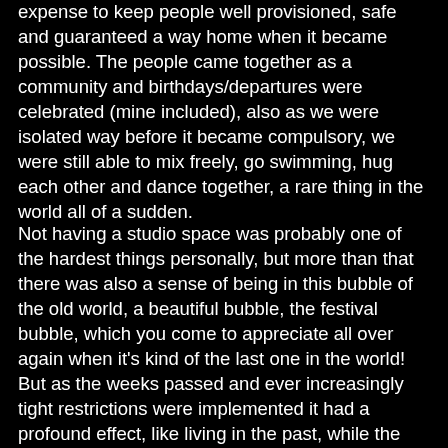expense to keep people well provisioned, safe and guaranteed a way home when it became possible. The people came together as a community and birthdays/departures were celebrated (mine included), also as we were isolated way before it became compulsory, we were still able to mix freely, go swimming, hug each other and dance together, a rare thing in the world all of a sudden.
Not having a studio space was probably one of the hardest things personally, but more than that there was also a sense of being in this bubble of the old world, a beautiful bubble, the festival bubble, which you come to appreciate all over again when it's kind of the last one in the world! But as the weeks passed and ever increasingly tight restrictions were implemented it had a profound effect, like living in the past, while the whole world experienced something so harsh and intense. It was a